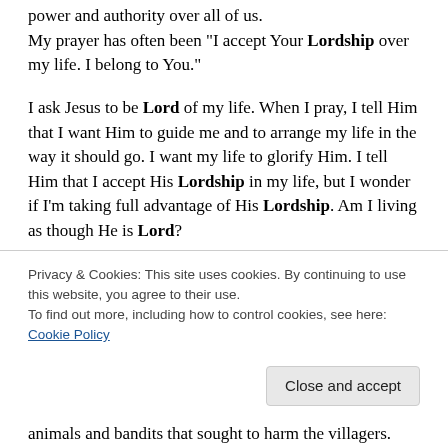power and authority over all of us. My prayer has often been "I accept Your Lordship over my life. I belong to You."
I ask Jesus to be Lord of my life. When I pray, I tell Him that I want Him to guide me and to arrange my life in the way it should go. I want my life to glorify Him. I tell Him that I accept His Lordship in my life, but I wonder if I'm taking full advantage of His Lordship. Am I living as though He is Lord?
In medieval times the lord of the land was responsible for the care of his subjects. He governed, providing the rules and regulations making it possible
Privacy & Cookies: This site uses cookies. By continuing to use this website, you agree to their use.
To find out more, including how to control cookies, see here: Cookie Policy
animals and bandits that sought to harm the villagers.